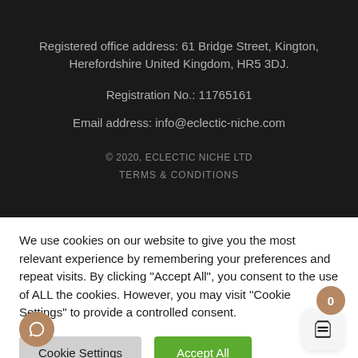Registered office address: 61 Bridge Street, Kington, Herefordshire United Kingdom, HR5 3DJ.
Registration No.: 11765161
Email address: info@eclectic-niche.com
© 2020, ECLECTIC NICHE LTD
TERMS & CONDITIONS
We use cookies on our website to give you the most relevant experience by remembering your preferences and repeat visits. By clicking "Accept All", you consent to the use of ALL the cookies. However, you may visit "Cookie Settings" to provide a controlled consent.
Cookie Settings
Accept All